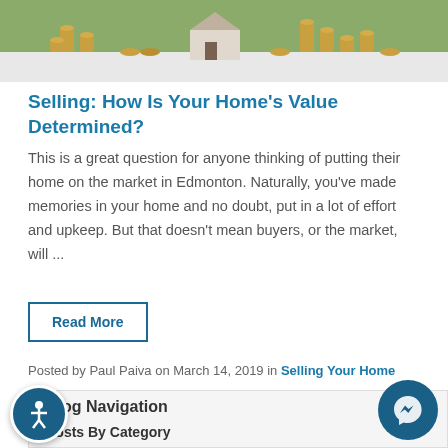[Figure (photo): Photo of stacks of coins with a small house model on a white surface, representing home value and real estate finance]
Selling: How Is Your Home's Value Determined?
This is a great question for anyone thinking of putting their home on the market in Edmonton. Naturally, you've made memories in your home and no doubt, put in a lot of effort and upkeep. But that doesn't mean buyers, or the market, will ...
Read More
Posted by Paul Paiva on March 14, 2019 in Selling Your Home
Blog Navigation
Posts By Category